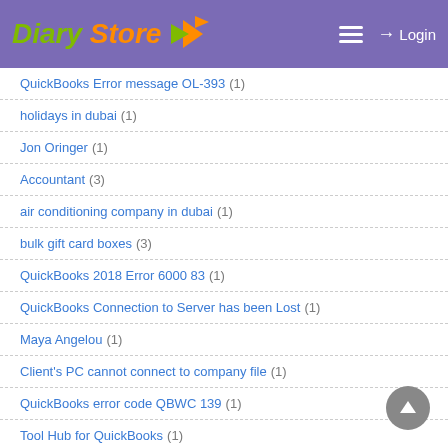Diary Store — Login
QuickBooks Error message OL-393 (1)
holidays in dubai (1)
Jon Oringer (1)
Accountant (3)
air conditioning company in dubai (1)
bulk gift card boxes (3)
QuickBooks 2018 Error 6000 83 (1)
QuickBooks Connection to Server has been Lost (1)
Maya Angelou (1)
Client's PC cannot connect to company file (1)
QuickBooks error code QBWC 139 (1)
Tool Hub for QuickBooks (1)